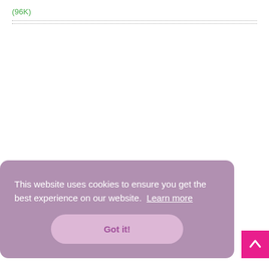(96K)
This website uses cookies to ensure you get the best experience on our website. Learn more
Got it!